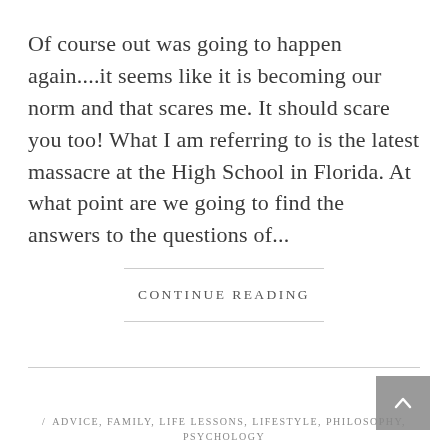Of course out was going to happen again....it seems like it is becoming our norm and that scares me. It should scare you too! What I am referring to is the latest massacre at the High School in Florida. At what point are we going to find the answers to the questions of...
CONTINUE READING
/ ADVICE, FAMILY, LIFE LESSONS, LIFESTYLE, PHILOSOPHY, PSYCHOLOGY